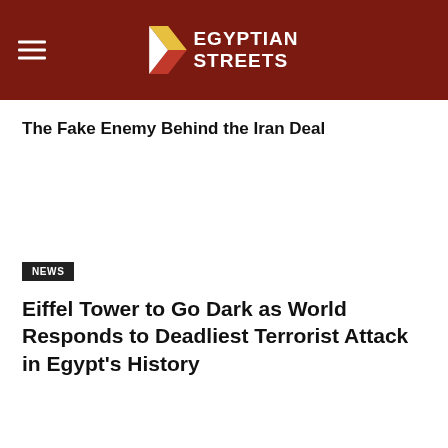Egyptian Streets
The Fake Enemy Behind the Iran Deal
NEWS
Eiffel Tower to Go Dark as World Responds to Deadliest Terrorist Attack in Egypt’s History